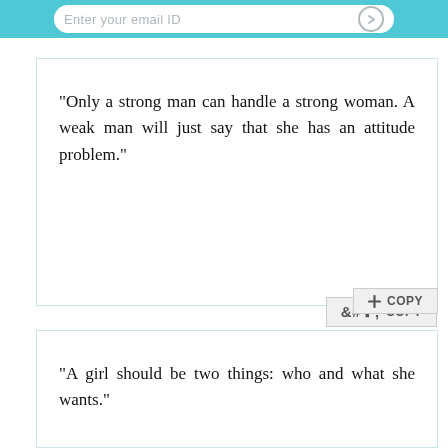[Figure (screenshot): Top teal/cyan bar with a rounded white email input field showing placeholder text 'Enter your email ID' and a circular arrow button on the right]
"Only a strong man can handle a strong woman. A weak man will just say that she has an attitude problem."
"A girl should be two things: who and what she wants."